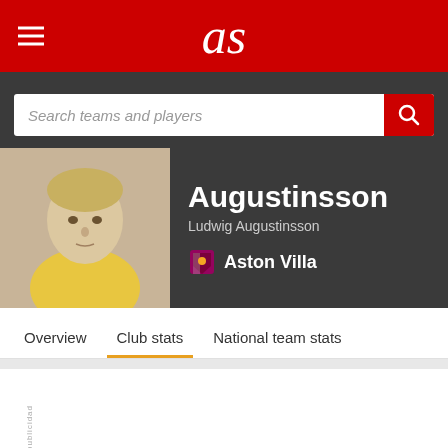as
Search teams and players
Augustinsson
Ludwig Augustinsson
Aston Villa
Overview   Club stats   National team stats
publicidad
Stats